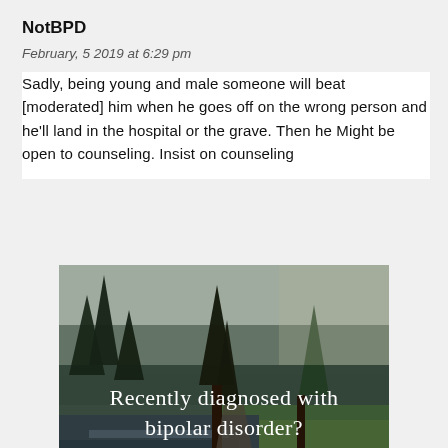NotBPD
February, 5 2019 at 6:29 pm
Sadly, being young and male someone will beat [moderated] him when he goes off on the wrong person and he'll land in the hospital or the grave. Then he Might be open to counseling. Insist on counseling
[Figure (photo): Advertisement banner showing a forest/nature scene with a river and trees, overlaid with text: 'Recently diagnosed with bipolar disorder? DOWNLOAD OUR FREE EBOOK NOW.']
advertisement